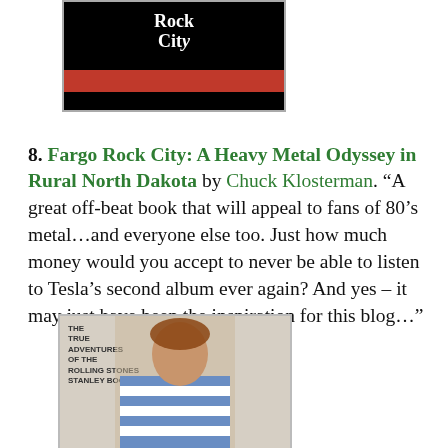[Figure (photo): Top portion of a book cover for 'Fargo Rock City' showing dark background with red bar and white text]
8. Fargo Rock City: A Heavy Metal Odyssey in Rural North Dakota by Chuck Klosterman. “A great off-beat book that will appeal to fans of 80’s metal…and everyone else too. Just how much money would you accept to never be able to listen to Tesla’s second album ever again? And yes – it may just have been the inspiration for this blog…”
[Figure (photo): Book cover showing a person in a striped shirt with text about Rolling Stones and Stanley Booth]